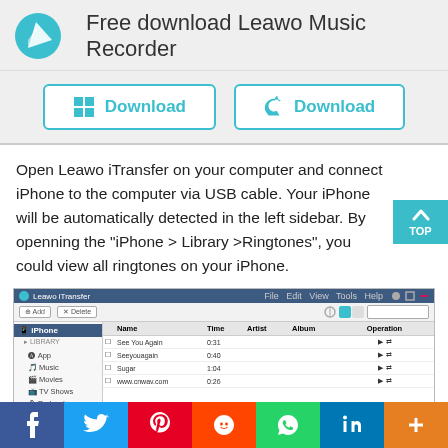[Figure (logo): Leawo blue circular logo icon with white sail/flag design]
Free download Leawo Music Recorder
[Figure (infographic): Two download buttons side by side: Windows Download and Mac Download, styled with teal border and icons]
Open Leawo iTransfer on your computer and connect iPhone to the computer via USB cable. Your iPhone will be automatically detected in the left sidebar. By openning the "iPhone > Library >Ringtones", you could view all ringtones on your iPhone.
[Figure (screenshot): Screenshot of Leawo iTransfer software showing iPhone library with Ringtones selected, listing: See You Again (0:31), Seeyouagain (0:40), Sugar (1:04), www.cnwav.com (0:26)]
[Figure (infographic): Social media sharing bar with Facebook, Twitter, Pinterest, Mix, WhatsApp, LinkedIn, and plus buttons]